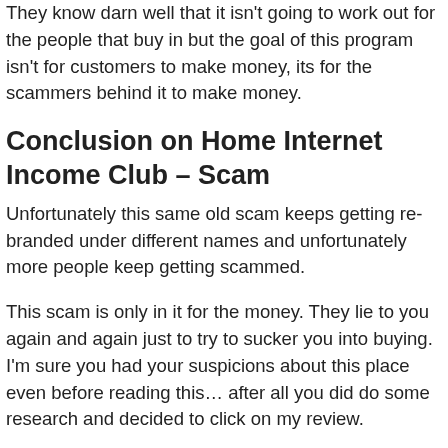They know darn well that it isn't going to work out for the people that buy in but the goal of this program isn't for customers to make money, its for the scammers behind it to make money.
Conclusion on Home Internet Income Club – Scam
Unfortunately this same old scam keeps getting re-branded under different names and unfortunately more people keep getting scammed.
This scam is only in it for the money. They lie to you again and again just to try to sucker you into buying. I'm sure you had your suspicions about this place even before reading this… after all you did do some research and decided to click on my review.